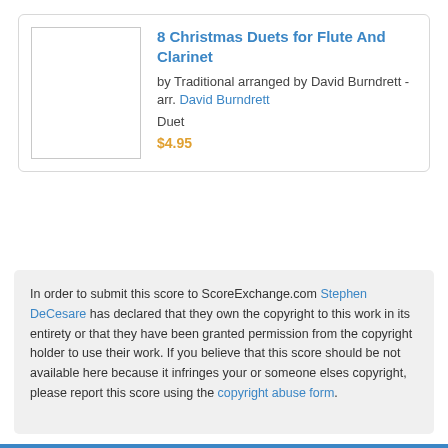8 Christmas Duets for Flute And Clarinet
by Traditional arranged by David Burndrett - arr. David Burndrett
Duet
$4.95
[Figure (other): Pagination dots: 16 dots in first row (first dot darker/active), 4 dots in second row]
In order to submit this score to ScoreExchange.com Stephen DeCesare has declared that they own the copyright to this work in its entirety or that they have been granted permission from the copyright holder to use their work. If you believe that this score should be not available here because it infringes your or someone elses copyright, please report this score using the copyright abuse form.